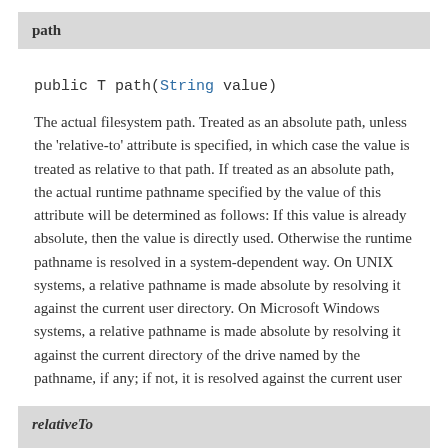path
public T path(String value)
The actual filesystem path. Treated as an absolute path, unless the 'relative-to' attribute is specified, in which case the value is treated as relative to that path. If treated as an absolute path, the actual runtime pathname specified by the value of this attribute will be determined as follows: If this value is already absolute, then the value is directly used. Otherwise the runtime pathname is resolved in a system-dependent way. On UNIX systems, a relative pathname is made absolute by resolving it against the current user directory. On Microsoft Windows systems, a relative pathname is made absolute by resolving it against the current directory of the drive named by the pathname, if any; if not, it is resolved against the current user directory.
relativeTo